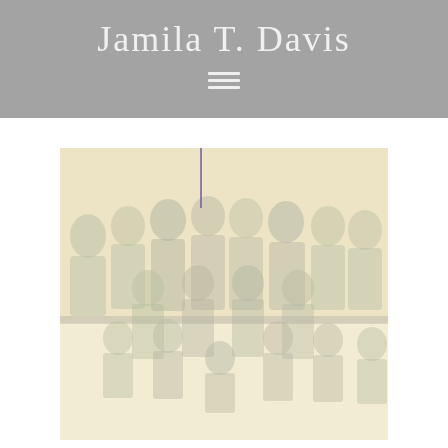Jamila T. Davis
[Figure (photo): Group photo of approximately 14 women wearing olive/dark green uniforms (prison attire), posed in three rows against a yellow wall background on a gymnasium floor. The image is washed out/faded with low contrast.]